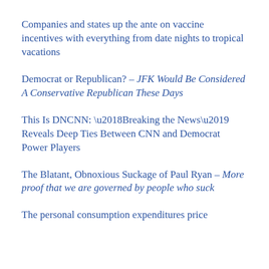Companies and states up the ante on vaccine incentives with everything from date nights to tropical vacations
Democrat or Republican? – JFK Would Be Considered A Conservative Republican These Days
This Is DNCNN: ‘Breaking the News’ Reveals Deep Ties Between CNN and Democrat Power Players
The Blatant, Obnoxious Suckage of Paul Ryan – More proof that we are governed by people who suck
The personal consumption expenditures price